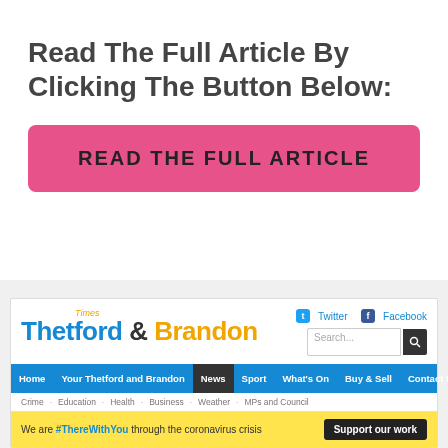Read The Full Article By Clicking The Button Below:
[Figure (other): Pink button labeled READ THE FULL ARTICLE]
[Figure (screenshot): Screenshot of Thetford & Brandon Times website showing logo, search bar, Twitter/Facebook social links, navigation bar with Home, Your Thetford and Brandon, News (active), Sport, What's On, Buy & Sell, Contact Us, iWitness24, sub-navigation with Crime, Education, Health, Business, Weather, MPs and Council, and a yellow banner: We are #ThereWithYou through the coronavirus crisis — Support our work]